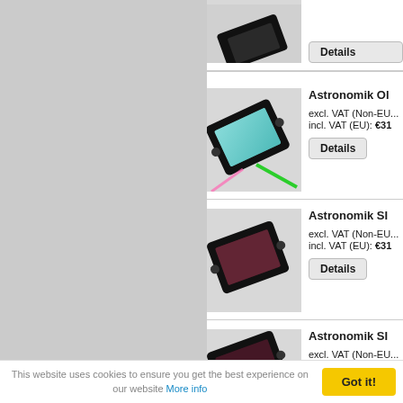[Figure (photo): Partial view of Astronomik filter product image at top]
Details
[Figure (photo): Astronomik OIII filter with teal/cyan glass and green beam]
Astronomik Ol...
excl. VAT (Non-EU...)
incl. VAT (EU): €31...
Details
[Figure (photo): Astronomik SII filter with dark reddish-brown glass]
Astronomik SI...
excl. VAT (Non-EU...)
incl. VAT (EU): €31...
Details
[Figure (photo): Partial view of Astronomik SII filter at bottom]
Astronomik SI...
excl. VAT (Non-EU...)
incl. VAT (EU): €68...
This website uses cookies to ensure you get the best experience on our website More info
Got it!